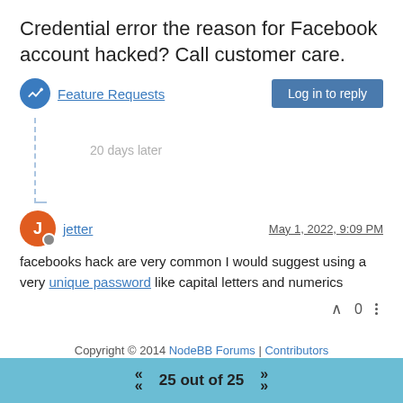Credential error the reason for Facebook account hacked? Call customer care.
Feature Requests
Log in to reply
20 days later
jetter — May 1, 2022, 9:09 PM
facebooks hack are very common I would suggest using a very unique password like capital letters and numerics
^ 0 ⋮
Copyright © 2014 NodeBB Forums | Contributors
25 out of 25